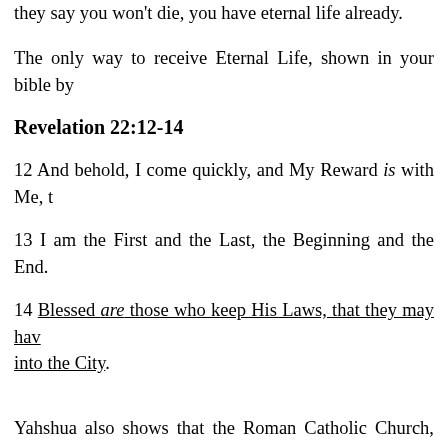they say you won't die, you have eternal life already.
The only way to receive Eternal Life, shown in your bible by
Revelation 22:12-14
12 And behold, I come quickly, and My Reward is with Me, t
13 I am the First and the Last, the Beginning and the End.
14 Blessed are those who keep His Laws, that they may hav into the City.
Yahshua also shows that the Roman Catholic Church, the slaughtering a third of mankind over that fourth part of the e now taking place there.
Notice, the one shown to be responsible for all wars will not